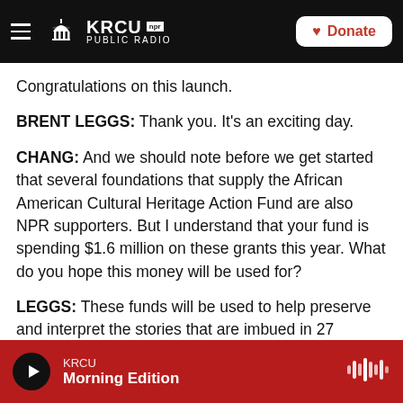KRCU Public Radio — Navigation bar with Donate button
Congratulations on this launch.
BRENT LEGGS: Thank you. It's an exciting day.
CHANG: And we should note before we get started that several foundations that supply the African American Cultural Heritage Action Fund are also NPR supporters. But I understand that your fund is spending $1.6 million on these grants this year. What do you hope this money will be used for?
LEGGS: These funds will be used to help preserve and interpret the stories that are imbued in 27
KRCU — Morning Edition